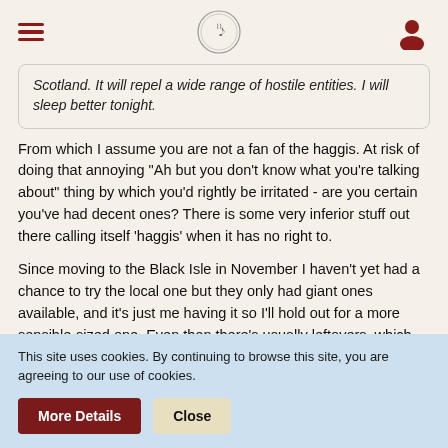[hamburger menu | logo | user icon]
Scotland. It will repel a wide range of hostile entities. I will sleep better tonight.
From which I assume you are not a fan of the haggis. At risk of doing that annoying "Ah but you don't know what you're talking about" thing by which you'd rightly be irritated - are you certain you've had decent ones? There is some very inferior stuff out there calling itself 'haggis' when it has no right to.
Since moving to the Black Isle in November I haven't yet had a chance to try the local one but they only had giant ones available, and it's just me having it so I'll hold out for a more sensible-sized one. Even then there's usually leftovers, which means a delicious breakfast of haggis on toast with a fried egg on top.
This site uses cookies. By continuing to browse this site, you are agreeing to our use of cookies.